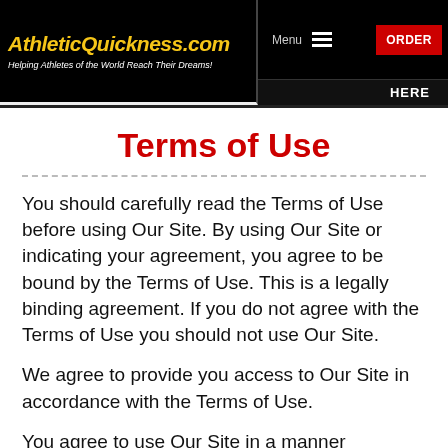AthleticQuickness.com — Helping Athletes of the World Reach Their Dreams! | Menu | ORDER HERE
Terms of Use
You should carefully read the Terms of Use before using Our Site. By using Our Site or indicating your agreement, you agree to be bound by the Terms of Use. This is a legally binding agreement. If you do not agree with the Terms of Use you should not use Our Site.
We agree to provide you access to Our Site in accordance with the Terms of Use.
You agree to use Our Site in a manner consistent